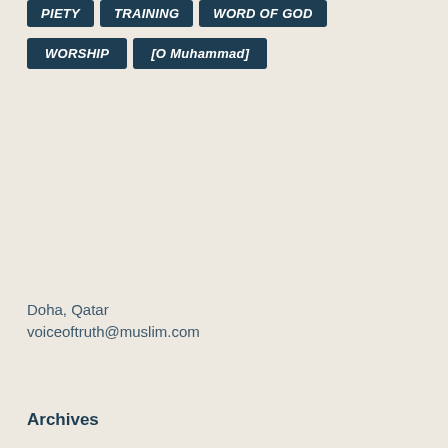PIETY
TRAINING
WORD OF GOD
WORSHIP
[O Muhammad]
Doha, Qatar
voiceoftruth@muslim.com
Archives